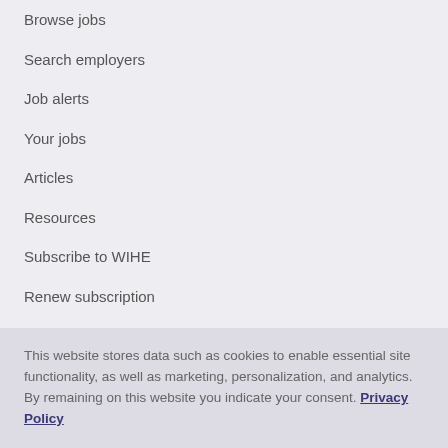Browse jobs
Search employers
Job alerts
Your jobs
Articles
Resources
Subscribe to WIHE
Renew subscription
Terms & Conditions
Privacy
This website stores data such as cookies to enable essential site functionality, as well as marketing, personalization, and analytics. By remaining on this website you indicate your consent. Privacy Policy